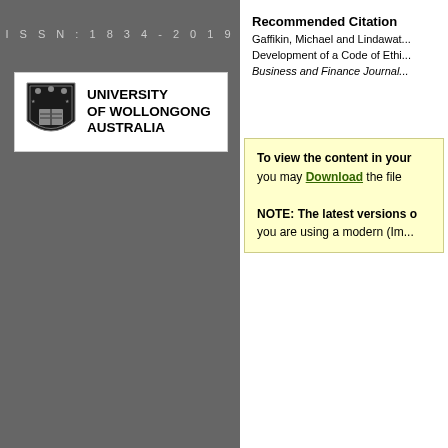ISSN: 1834-2019
[Figure (logo): University of Wollongong Australia logo with shield crest and university name text]
Recommended Citation
Gaffikin, Michael and Lindawat... Development of a Code of Ethi... Business and Finance Journal...
To view the content in your browser, you may Download the file to your browser. NOTE: The latest versions of Adobe Reader do not support viewing PDF files within Firefox on Mac OS and if you are using a modern (Im...